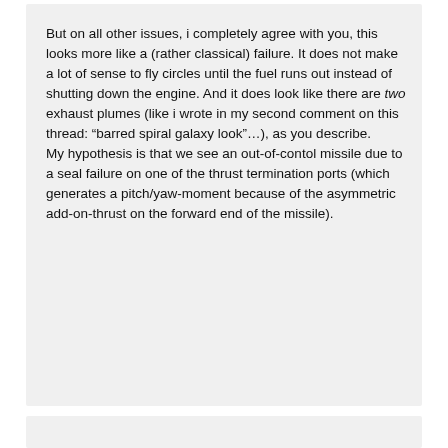But on all other issues, i completely agree with you, this looks more like a (rather classical) failure. It does not make a lot of sense to fly circles until the fuel runs out instead of shutting down the engine. And it does look like there are two exhaust plumes (like i wrote in my second comment on this thread: “barred spiral galaxy look”…), as you describe.
My hypothesis is that we see an out-of-contol missile due to a seal failure on one of the thrust termination ports (which generates a pitch/yaw-moment because of the asymmetric add-on-thrust on the forward end of the missile).